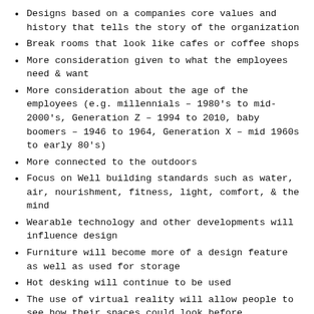Designs based on a companies core values and history that tells the story of the organization
Break rooms that look like cafes or coffee shops
More consideration given to what the employees need & want
More consideration about the age of the employees (e.g. millennials – 1980's to mid-2000's, Generation Z – 1994 to 2010, baby boomers – 1946 to 1964, Generation X – mid 1960s to early 80's)
More connected to the outdoors
Focus on Well building standards such as water, air, nourishment, fitness, light, comfort, & the mind
Wearable technology and other developments will influence design
Furniture will become more of a design feature as well as used for storage
Hot desking will continue to be used
The use of virtual reality will allow people to see how their spaces could look before construction
Designs based on data will be used (e.g. Sociometric ID badges) or something similar may be used to collect data on employees movements and how they use space and interact